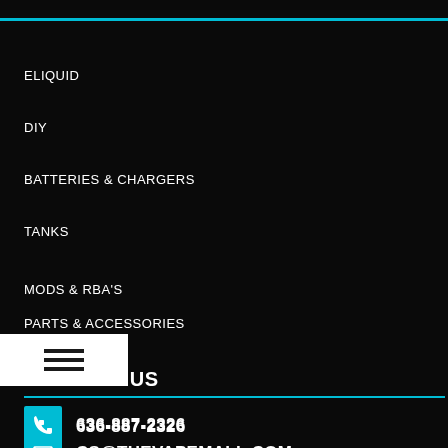ELIQUID
DIY
BATTERIES & CHARGERS
TANKS
MODS & RBA'S
PARTS & ACCESSORIES
SALES
THE VAPE MALL BLOG
CBD
PIPES/HERB/WAX
CONTACT US
636-887-2326
CS@THEVAPEMALL.COM